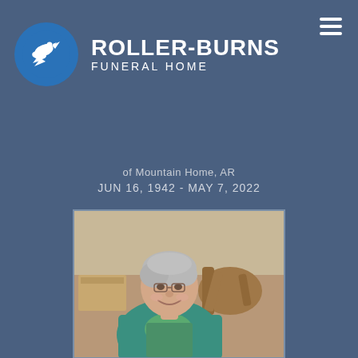[Figure (logo): Roller-Burns Funeral Home logo with white dove on blue circular background and text]
of Mountain Home, AR
JUN 16, 1942 - MAY 7, 2022
[Figure (photo): Photograph of an elderly woman with gray hair, wearing a teal jacket, smiling, seated indoors]